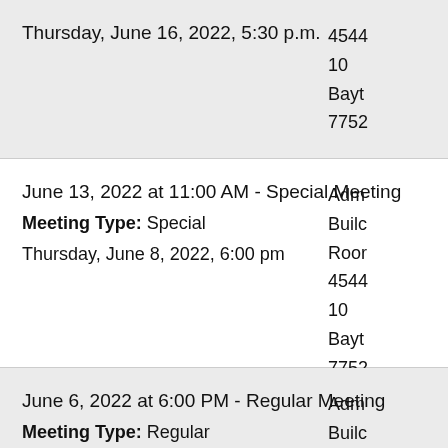Thursday, June 16, 2022, 5:30 p.m.
4544
10
Bayt
7752
June 13, 2022 at 11:00 AM - Special Meeting
Meeting Type: Special
Thursday, June 8, 2022, 6:00 pm
Adm
Builc
Roor
4544
10
Bayt
7752
June 6, 2022 at 6:00 PM - Regular Meeting
Meeting Type: Regular
Posting Notice - Friday, June 3, 2022, 4:00 p.m.
Adm
Builc
Roor
4544
10
Bayt